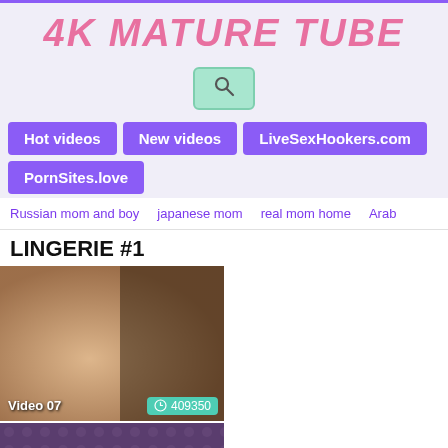4K MATURE TUBE
Hot videos
New videos
LiveSexHookers.com
PornSites.love
Russian mom and boy   japanese mom   real mom home   Arab
LINGERIE #1
[Figure (screenshot): Video thumbnail: Video 07, view count 409350]
[Figure (screenshot): Video thumbnail: Knockout Busty a..., view count 306]
[Figure (screenshot): Video thumbnail: partial view, bottom left]
[Figure (screenshot): Video thumbnail: partial view, bottom right]